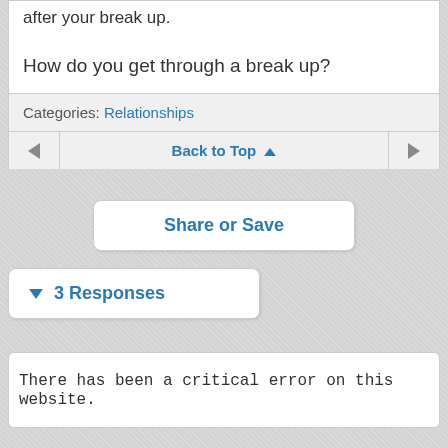after your break up.
How do you get through a break up?
Categories: Relationships
Back to Top ▲
Share or Save
▼ 3 Responses
There has been a critical error on this website.